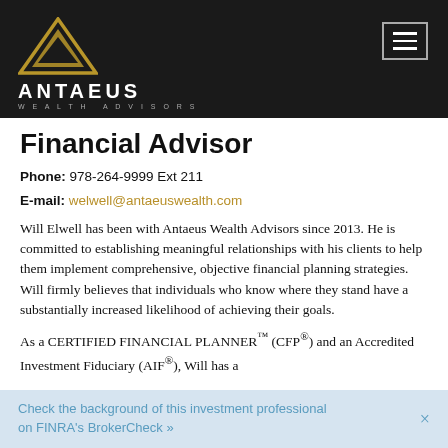[Figure (logo): Antaeus Wealth Advisors logo: gold/dark triangle with ANTAEUS WEALTH ADVISORS text on black background, with hamburger menu icon top right]
Financial Advisor
Phone: 978-264-9999 Ext 211
E-mail: welwell@antaeuswealth.com
Will Elwell has been with Antaeus Wealth Advisors since 2013. He is committed to establishing meaningful relationships with his clients to help them implement comprehensive, objective financial planning strategies. Will firmly believes that individuals who know where they stand have a substantially increased likelihood of achieving their goals.
As a CERTIFIED FINANCIAL PLANNER™ (CFP®) and an Accredited Investment Fiduciary (AIF®), Will has a
Check the background of this investment professional on FINRA's BrokerCheck »